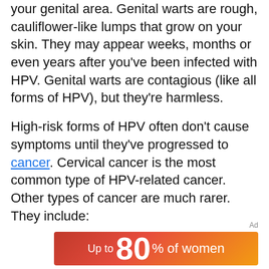your genital area. Genital warts are rough, cauliflower-like lumps that grow on your skin. They may appear weeks, months or even years after you've been infected with HPV. Genital warts are contagious (like all forms of HPV), but they're harmless.
High-risk forms of HPV often don't cause symptoms until they've progressed to cancer. Cervical cancer is the most common type of HPV-related cancer. Other types of cancer are much rarer. They include:
Ad
[Figure (infographic): Red-orange gradient advertisement banner reading 'Up to 80% of women']